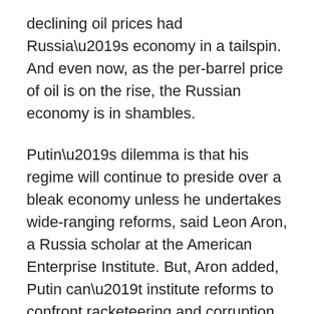declining oil prices had Russia's economy in a tailspin. And even now, as the per-barrel price of oil is on the rise, the Russian economy is in shambles.
Putin's dilemma is that his regime will continue to preside over a bleak economy unless he undertakes wide-ranging reforms, said Leon Aron, a Russia scholar at the American Enterprise Institute. But, Aron added, Putin can't institute reforms to confront racketeering and corruption in the Russian bureaucracy without endangering his regime.
“He has shifted the basis of his regime’s legitimacy and his personal popularity from wealth management to defender of the country, the restorer of the glory of the Soviet Union,” Aron said. That strategy requires constant conflict with the West so that Putin can portray himself as a “war